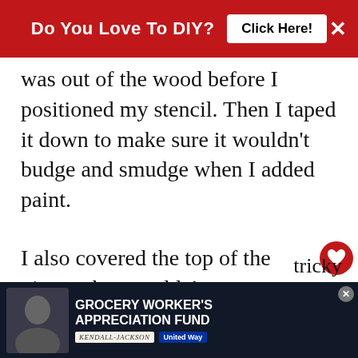Do You Love To DIY? [Click Here!] ×
was out of the wood before I positioned my stencil. Then I taped it down to make sure it wouldn't budge and smudge when I added paint.
I also covered the top of the pig, so that wouldn't accidentally get paint where it didn't belong.
WHAT'S NEXT → Let It Snow Cutting Board
I used a foam sponce, pouncer and gently
[Figure (screenshot): Bottom advertisement banner: Grocery Worker's Appreciation Fund with Kendall Jackson and United Way logos]